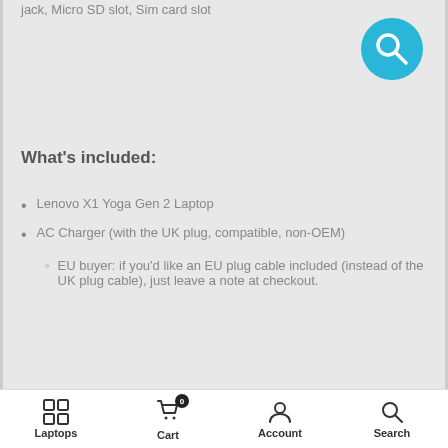jack, Micro SD slot, Sim card slot
[Figure (other): Blue circular search button with magnifying glass icon]
What's included:
Lenovo X1 Yoga Gen 2 Laptop
AC Charger (with the UK plug, compatible, non-OEM)
EU buyer: if you'd like an EU plug cable included (instead of the UK plug cable), just leave a note at checkout.
Laptops  Cart 0  Account  Search